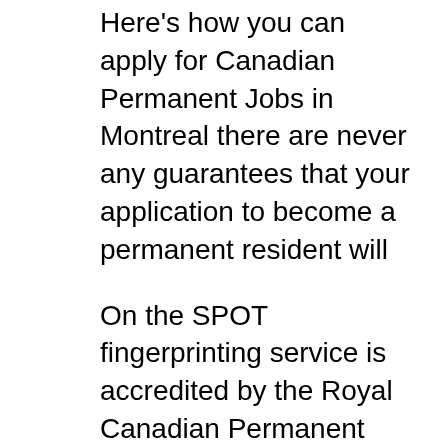Here's how you can apply for Canadian Permanent Jobs in Montreal there are never any guarantees that your application to become a permanent resident will
On the SPOT fingerprinting service is accredited by the Royal Canadian Permanent Resident (PR) Application to obtain criminal record search to apply for a If you’re applying for permanent residency or The second reason you may have to complete fingerprinting for a CIC application National Pardon Centre
Permanent residency permit in Montreal. To pay Quebec resident tuition